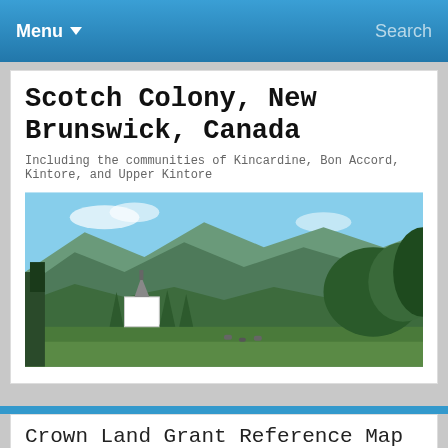Menu  Search
Scotch Colony, New Brunswick, Canada
Including the communities of Kincardine, Bon Accord, Kintore, and Upper Kintore
[Figure (photo): Landscape photo showing a white church surrounded by green hills and trees with mountains in the background under a partly cloudy sky]
Crown Land Grant Reference Map Viewer
Posted by Bill Duncan
Here's the link:
http://geonb.snb.ca/GRP/index.html
The underlying Bureau of Lands and Mines lot-map (cadastral) images